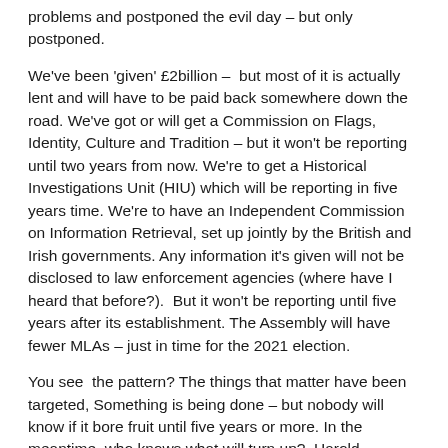problems and postponed the evil day – but only postponed.
We've been 'given' £2billion –  but most of it is actually lent and will have to be paid back somewhere down the road. We've got or will get a Commission on Flags, Identity, Culture and Tradition – but it won't be reporting until two years from now. We're to get a Historical Investigations Unit (HIU) which will be reporting in five years time. We're to have an Independent Commission on Information Retrieval, set up jointly by the British and Irish governments. Any information it's given will not be disclosed to law enforcement agencies (where have I heard that before?).  But it won't be reporting until five years after its establishment. The Assembly will have fewer MLAs – just in time for the 2021 election.
You see  the pattern? The things that matter have been targeted, Something is being done – but nobody will know if it bore fruit until five years or more. In the meantime, who knows what will turn up?  Harold MacMillan knew: 'Events, dear boy, events'.  For a start there definitely will be one election in the